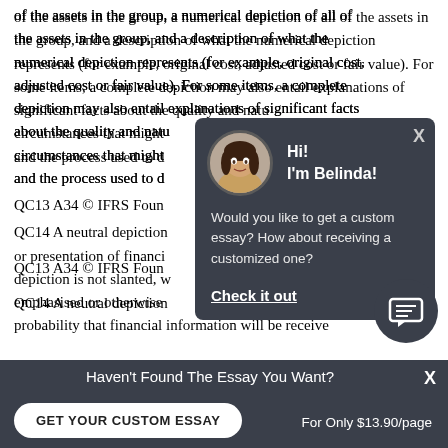of the assets in the group, a numerical depiction of all of the assets in the group, and a description of what the numerical depiction represents (for example, original cost, adjusted cost or fair value). For some items, a complete depiction may also entail explanations of significant facts about the quality and nature of the items, factors and circumstances that might affect the quality and nature, and the process used to d...
QC13 A34 © IFRS Foun...
QC14 A neutral depiction... or presentation of financi... depiction is not slanted, w... emphasised or otherwise... probability that financial information will be receive...
[Figure (screenshot): Chat popup overlay with avatar photo of a woman named Belinda, greeting 'Hi! I'm Belinda!', message 'Would you like to get a custom essay? How about receiving a customized one?' and a 'Check it out' link. Dark grey background.]
[Figure (screenshot): Bottom banner with text 'Haven't Found The Essay You Want?' and button 'GET YOUR CUSTOM ESSAY' and price 'For Only $13.90/page'. Dark grey background with X close button.]